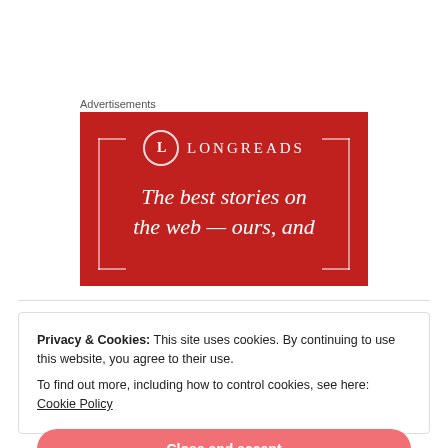Advertisements
[Figure (illustration): Longreads advertisement banner on dark red background. Shows the Longreads logo (circle with letter L) and brand name, decorative corner brackets, and the text: The best stories on the web — ours, and]
Privacy & Cookies: This site uses cookies. By continuing to use this website, you agree to their use.
To find out more, including how to control cookies, see here: Cookie Policy
Close and accept